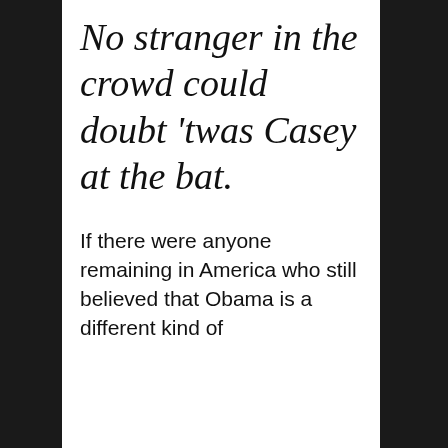No stranger in the crowd could doubt 'twas Casey at the bat.
If there were anyone remaining in America who still believed that Obama is a different kind of